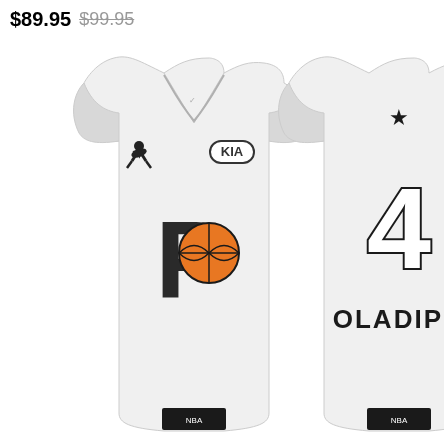$89.95  $99.95
[Figure (photo): Product photo showing front and back of an NBA Indiana Pacers Victor Oladipo #4 All-Star white basketball jersey. Front shows the Jordan Brand logo, KIA sponsor patch, and Pacers logo. Back shows number 4, OLADIPO name, an All-Star star logo, and NBA tag at bottom.]
-10%